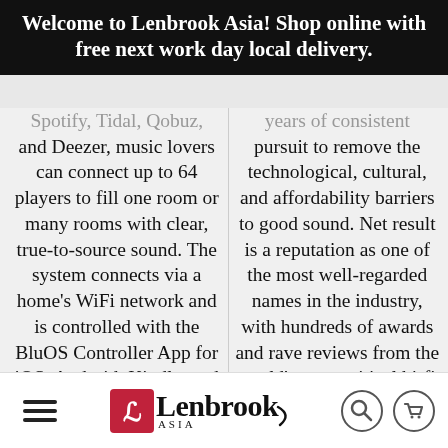Welcome to Lenbrook Asia! Shop online with free next work day local delivery.
Spotify, Tidal, Qobuz, and Deezer, music lovers can connect up to 64 players to fill one room or many rooms with clear, true-to-source sound. The system connects via a home's WiFi network and is controlled with the BluOS Controller App for iOS, Android, Kindle, and
years of consistent pursuit to remove the technological, cultural, and affordability barriers to good sound. Net result is a reputation as one of the most well-regarded names in the industry, with hundreds of awards and rave reviews from the world's most critical hi-fi press.
Lenbrook Asia [logo with navigation icons]